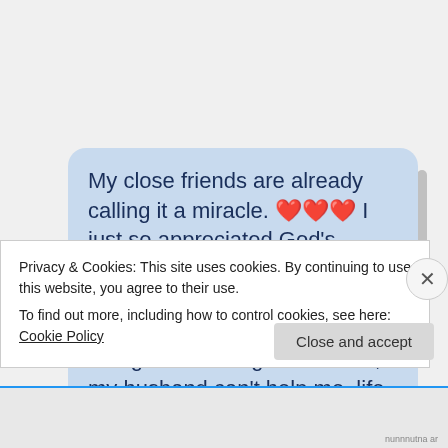[Figure (screenshot): A chat bubble with light blue background containing the message: 'My close friends are already calling it a miracle. ❤️❤️❤️ I just so appreciated God's timing! When you have a chronically ill husband, it is amazing what will loop your thoughts--I can't get this fixed, my husband can't help me, life is so' (text is cut off). A scrollbar is visible on the right side.]
Privacy & Cookies: This site uses cookies. By continuing to use this website, you agree to their use.
To find out more, including how to control cookies, see here: Cookie Policy